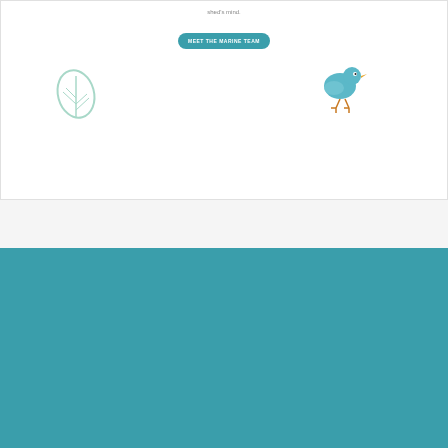shed's mind.
[Figure (illustration): A teal rounded button labeled MEET THE MARINE TEAM]
[Figure (illustration): A light blue outline leaf icon on the left side]
[Figure (illustration): A blue cartoon bird illustration on the right side]
RESULTS
What did the project achieve?